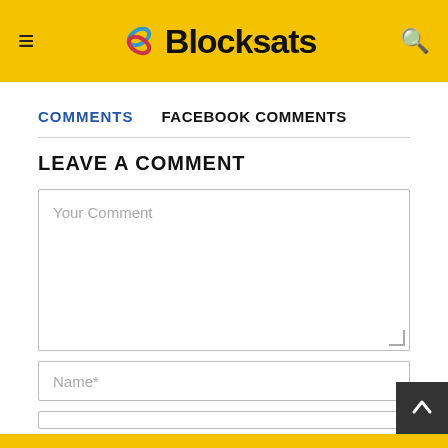Blocksats
COMMENTS    FACEBOOK COMMENTS
LEAVE A COMMENT
Your Comment
Name*